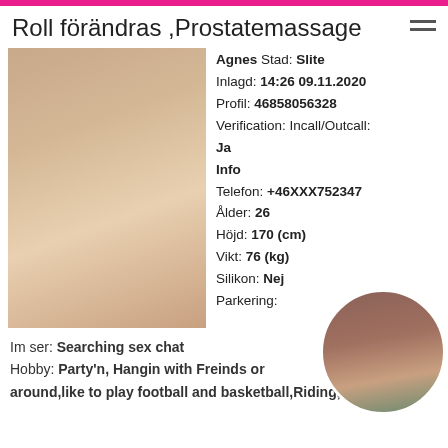Roll förändras ,Prostatemassage
Agnes Stad: Slite
Inlagd: 14:26 09.11.2020
Profil: 46858056328
Verification: Incall/Outcall:
Ja
Info
Telefon: +46XXX752347
Ålder: 26
Höjd: 170 (cm)
Vikt: 76 (kg)
Silikon: Nej
Parkering:
[Figure (photo): Portrait photo of a woman]
[Figure (photo): Circular thumbnail photo of a woman]
Im ser: Searching sex chat
Hobby: Party'n, Hangin with Freinds or around,like to play football and basketball,Riding,